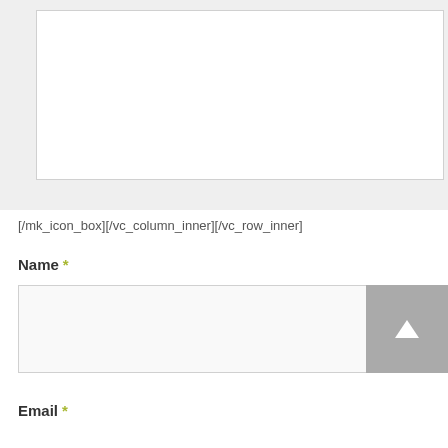[Figure (screenshot): A form textarea input box with white background and light gray border on a light gray background]
[Figure (screenshot): A green-olive Submit button with white letter-spaced text SUBMIT]
[/mk_icon_box][/vc_column_inner][/vc_row_inner]
Name *
[Figure (screenshot): A text input box for Name field with light gray background]
Email *